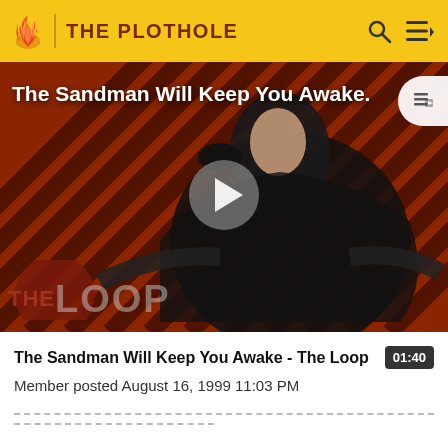THE PLOTHOLE
[Figure (screenshot): Video thumbnail showing a dark-cloaked figure with a crow against a diagonal red and black striped background. The Loop logo is visible in the lower left. A play button is centered. Text overlay reads: The Sandman Will Keep You Awake.]
The Sandman Will Keep You Awake - The Loop
Member posted August 16, 1999 11:03 PM